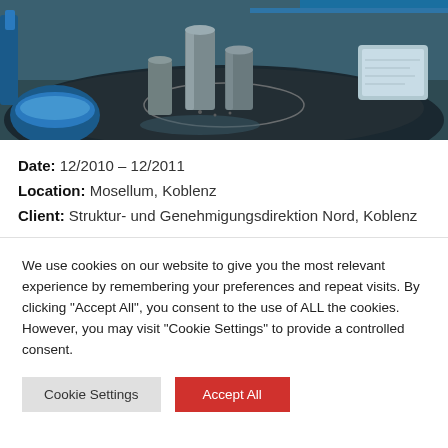[Figure (photo): Interior photo of Mosellum exhibition space showing metallic cylinder sculptures on a dark circular table with blue ambient lighting and interactive displays in the background]
Date: 12/2010 – 12/2011
Location: Mosellum, Koblenz
Client: Struktur- und Genehmigungsdirektion Nord, Koblenz
We use cookies on our website to give you the most relevant experience by remembering your preferences and repeat visits. By clicking "Accept All", you consent to the use of ALL the cookies. However, you may visit "Cookie Settings" to provide a controlled consent.